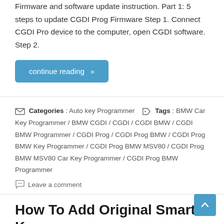Firmware and software update instruction. Part 1: 5 steps to update CGDI Prog Firmware Step 1. Connect CGDI Pro device to the computer, open CGDI software. Step 2.
continue reading »
Categories : Auto key Programmer   Tags : BMW Car Key Programmer / BMW CGDI / CGDI / CGDI BMW / CGDI BMW Programmer / CGDI Prog / CGDI Prog BMW / CGDI Prog BMW Key Programmer / CGDI Prog BMW MSV80 / CGDI Prog BMW MSV80 Car Key Programmer / CGDI Prog BMW Programmer
Leave a comment
How To Add Original Smart Key